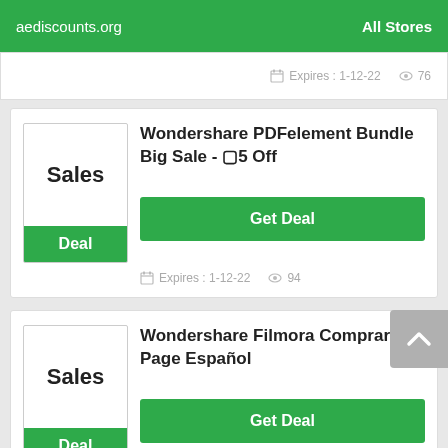aediscounts.org  All Stores
Expires: 1-12-22   76
Sales
Deal
Wondershare PDFelement Bundle Big Sale - ▢5 Off
Get Deal
Expires: 1-12-22  94
Sales
Deal
Wondershare Filmora Comprar Page Español
Get Deal
Expires: 1-11-22  81